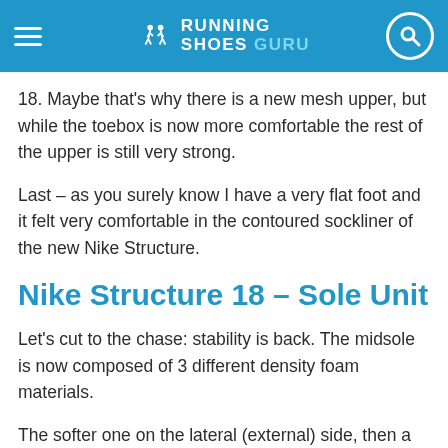RUNNING SHOES GURU
18. Maybe that's why there is a new mesh upper, but while the toebox is now more comfortable the rest of the upper is still very strong.
Last – as you surely know I have a very flat foot and it felt very comfortable in the contoured sockliner of the new Nike Structure.
Nike Structure 18 – Sole Unit
Let's cut to the chase: stability is back. The midsole is now composed of 3 different density foam materials.
The softer one on the lateral (external) side, then a